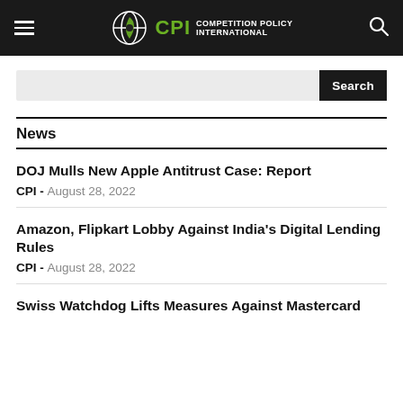CPI Competition Policy International
News
DOJ Mulls New Apple Antitrust Case: Report
CPI - August 28, 2022
Amazon, Flipkart Lobby Against India's Digital Lending Rules
CPI - August 28, 2022
Swiss Watchdog Lifts Measures Against Mastercard